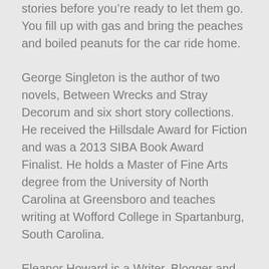stories before you're ready to let them go. You fill up with gas and bring the peaches and boiled peanuts for the car ride home.
George Singleton is the author of two novels, Between Wrecks and Stray Decorum and six short story collections. He received the Hillsdale Award for Fiction and was a 2013 SIBA Book Award Finalist. He holds a Master of Fine Arts degree from the University of North Carolina at Greensboro and teaches writing at Wofford College in Spartanburg, South Carolina.
Eleanor Howard is a Writer, Blogger and future Author. Discover more at